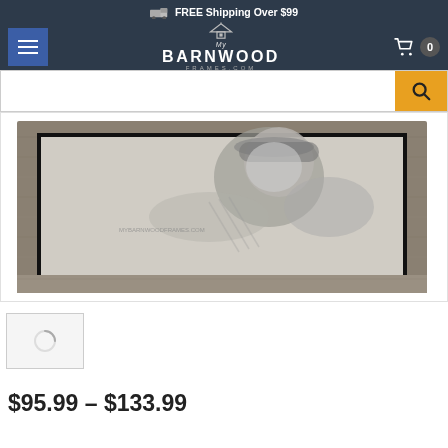FREE Shipping Over $99
[Figure (screenshot): My Barnwood Frames website navigation bar with hamburger menu, logo, and cart icon showing 0 items]
[Figure (screenshot): Search bar with orange search button]
[Figure (photo): Product photo showing a barnwood picture frame with a black and white photo of a baseball player inside, displayed at an angle]
[Figure (photo): Thumbnail image placeholder with loading spinner]
$95.99 – $133.99